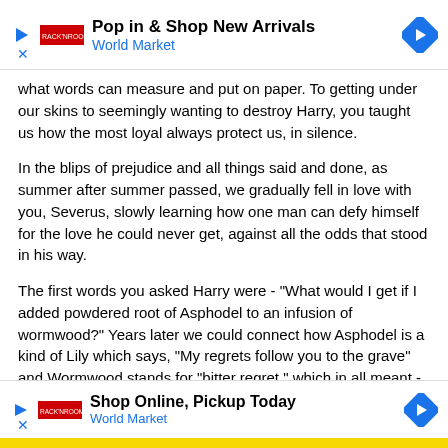[Figure (infographic): Advertisement banner: Pop in & Shop New Arrivals - World Market, with play icon, logo, and blue diamond navigation arrow]
what words can measure and put on paper. To getting under our skins to seemingly wanting to destroy Harry, you taught us how the most loyal always protect us, in silence.
In the blips of prejudice and all things said and done, as summer after summer passed, we gradually fell in love with you, Severus, slowly learning how one man can defy himself for the love he could never get, against all the odds that stood in his way.
The first words you asked Harry were - "What would I get if I added powdered root of Asphodel to an infusion of wormwood?" Years later we could connect how Asphodel is a kind of Lily which says, "My regrets follow you to the grave" and Wormwood stands for "bitter regret," which in all meant - "I bitterly regret Lily's death." And that, still breaks my heart.
Snape, twenty winters ago, you entered our hearts and taught us, over time, more than anyone else, how to love - selflessly, without want, demand or inhibition, just love, because of human emotic
[Figure (infographic): Advertisement banner: Shop Online, Pickup Today - World Market, with play icon, logo, and blue diamond navigation arrow]